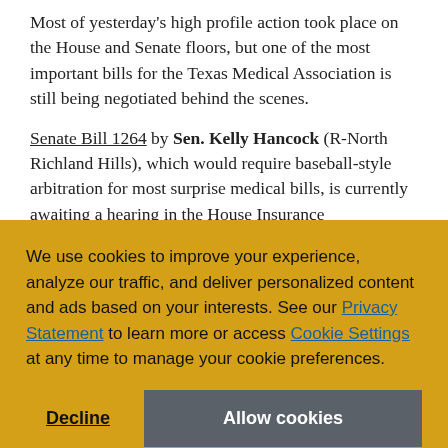Most of yesterday's high profile action took place on the House and Senate floors, but one of the most important bills for the Texas Medical Association is still being negotiated behind the scenes.
Senate Bill 1264 by Sen. Kelly Hancock (R-North Richland Hills), which would require baseball-style arbitration for most surprise medical bills, is currently awaiting a hearing in the House Insurance
We use cookies to improve your experience, analyze our traffic, and deliver personalized content and ads based on your interests. See our Privacy Statement to learn more or access Cookie Settings at any time to manage your cookie preferences.
Decline
Allow cookies
...Williams (R-Cypress), and Rep. Tom Oliverson, MD (R-Cypress), and Trey Martinez Fischer (R-San...